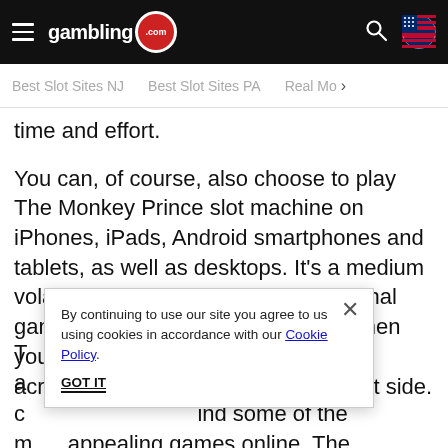gambling.com
Best Slot Sites NJ  Best Slot Sites PA  Real Mo >
time and effort.
You can, of course, also choose to play The Monkey Prince slot machine on iPhones, iPads, Android smartphones and tablets, as well as desktops. It's a medium volatility game that uses a conventional gameplay mechanic and pays out when you land 3 or more identical symbols across a payline, starting from the left side.
By continuing to use our site you agree to us using cookies in accordance with our Cookie Policy.
of the most a... that's a big c... ind some of the m... appealing games online. The computer- generated effects give it a slight 3D appearance and